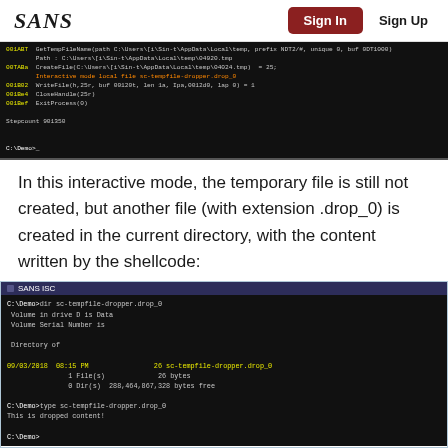SANS | Sign In | Sign Up
[Figure (screenshot): Dark terminal window showing assembly/hex debugger output with memory addresses and API calls including GetTempFileNameA, CreateFileA, interactive mode local file sc-tempfile-dropper.drop_0, WriteFile, CloseHandle, ExitProcess, Stepcount 901350, C:\Demo> prompt]
In this interactive mode, the temporary file is still not created, but another file (with extension .drop_0) is created in the current directory, with the content written by the shellcode:
[Figure (screenshot): SANS ISC terminal window showing: C:\Demo>dir sc-tempfile-dropper.drop_0, Volume in drive D is Data, Volume Serial Number is, Directory of, 09/03/2018 08:15 PM  26 sc-tempfile-dropper.drop_0, 1 File(s) 26 bytes, 0 Dir(s) 288,464,867,328 bytes free, C:\Demo>type sc-tempfile-dropper.drop_0, This is dropped content!, C:\Demo>]